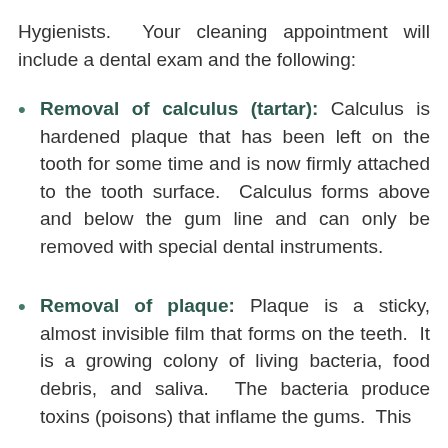Hygienists. Your cleaning appointment will include a dental exam and the following:
Removal of calculus (tartar): Calculus is hardened plaque that has been left on the tooth for some time and is now firmly attached to the tooth surface. Calculus forms above and below the gum line and can only be removed with special dental instruments.
Removal of plaque: Plaque is a sticky, almost invisible film that forms on the teeth. It is a growing colony of living bacteria, food debris, and saliva. The bacteria produce toxins (poisons) that inflame the gums. This